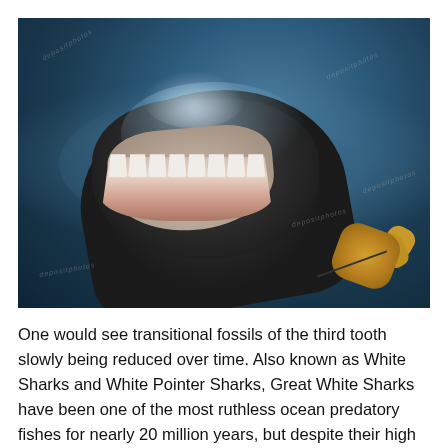[Figure (photo): Close-up photograph of a great white shark breaching the ocean surface with its mouth open showing multiple rows of teeth, with a bait object visible in the lower right corner and water splashing around it. The image has depositphotos watermarks.]
One would see transitional fossils of the third tooth slowly being reduced over time. Also known as White Sharks and White Pointer Sharks, Great White Sharks have been one of the most ruthless ocean predatory fishes for nearly 20 million years, but despite their high profile reputation, they